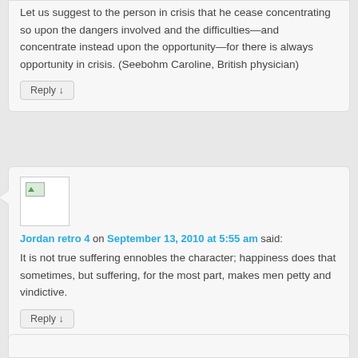Let us suggest to the person in crisis that he cease concentrating so upon the dangers involved and the difficulties—and concentrate instead upon the opportunity—for there is always opportunity in crisis. (Seebohm Caroline, British physician)
Reply ↓
Jordan retro 4 on September 13, 2010 at 5:55 am said:
It is not true suffering ennobles the character; happiness does that sometimes, but suffering, for the most part, makes men petty and vindictive.
Reply ↓